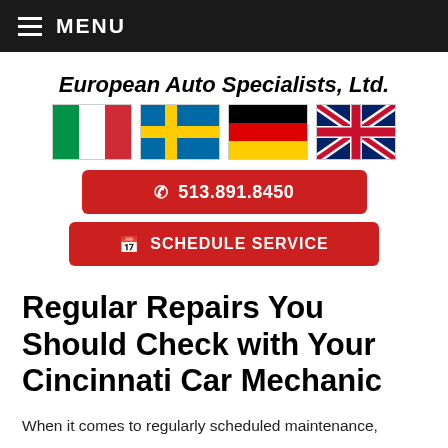MENU
European Auto Specialists, Ltd.
[Figure (illustration): Four national flags displayed horizontally: Italy (green, white, red vertical stripes), Sweden (blue with yellow cross), Germany (black, red, yellow horizontal stripes), United Kingdom (Union Jack)]
513.891.8450
SCHEDULE SERVICE
Regular Repairs You Should Check with Your Cincinnati Car Mechanic
When it comes to regularly scheduled maintenance,